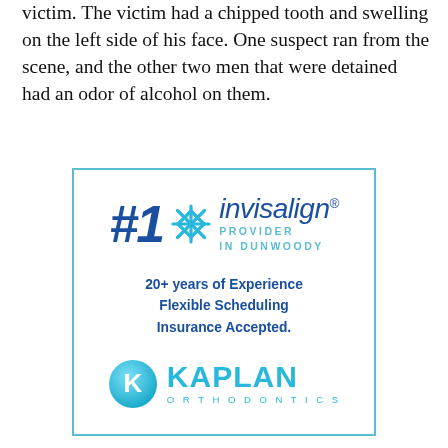victim. The victim had a chipped tooth and swelling on the left side of his face. One suspect ran from the scene, and the other two men that were detained had an odor of alcohol on them.
[Figure (other): Advertisement for Kaplan Orthodontics. Shows #1 Invisalign Provider in Dunwoody logo, taglines '20+ years of Experience', 'Flexible Scheduling', 'Insurance Accepted.', and Kaplan Orthodontics logo in blue.]